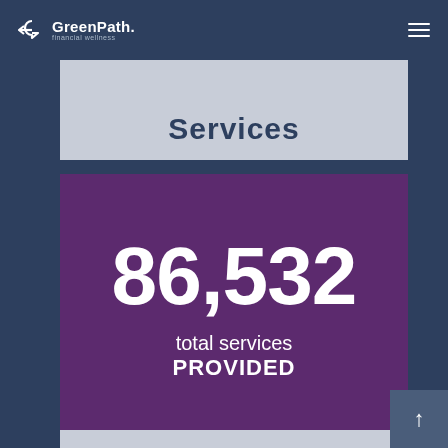GreenPath Financial Wellness — navigation header
Services
[Figure (infographic): Purple card with large white bold number '86,532' and text 'total services PROVIDED' centered on a purple background]
86,532 total services PROVIDED